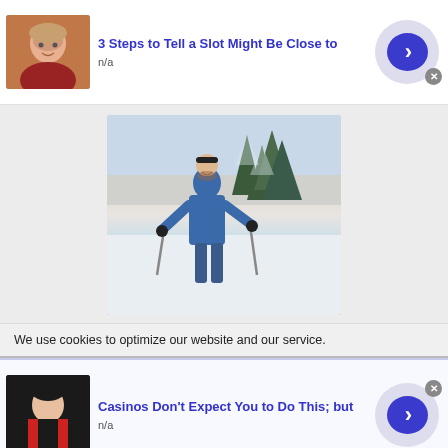[Figure (photo): Ad banner with thumbnail of older man's face, title text, and arrow button]
3 Steps to Tell a Slot Might Be Close to
n/a
[Figure (photo): Man in blue jacket cross-country skiing in snowy winter landscape with pine trees in background]
We use cookies to optimize our website and our service.
[Figure (photo): Ad banner with thumbnail of person in black and red jacket, title text, and arrow button]
Casinos Don't Expect You to Do This; but
n/a